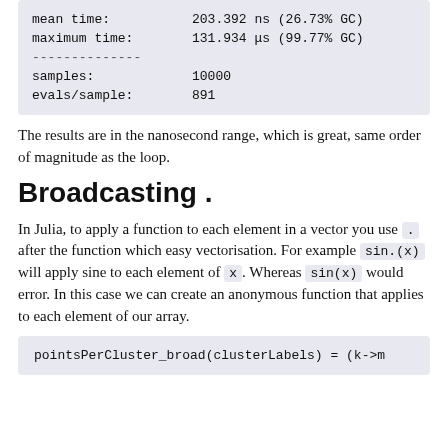mean time:    203.392 ns (26.73% GC)
maximum time: 131.934 μs (99.77% GC)
--------------
samples:      10000
evals/sample: 891
The results are in the nanosecond range, which is great, same order of magnitude as the loop.
Broadcasting .
In Julia, to apply a function to each element in a vector you use . after the function which easy vectorisation. For example sin.(x) will apply sine to each element of x. Whereas sin(x) would error. In this case we can create an anonymous function that applies to each element of our array.
pointsPerCluster_broad(clusterLabels) = (k->m